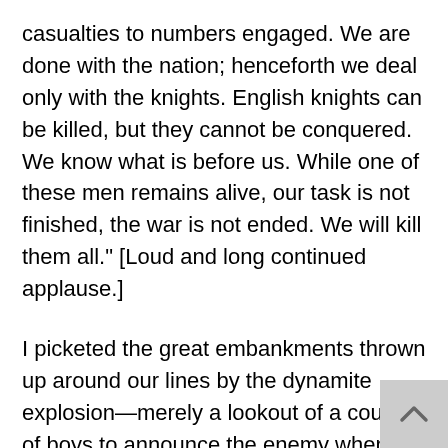casualties to numbers engaged. We are done with the nation; henceforth we deal only with the knights. English knights can be killed, but they cannot be conquered. We know what is before us. While one of these men remains alive, our task is not finished, the war is not ended. We will kill them all." [Loud and long continued applause.]
I picketed the great embankments thrown up around our lines by the dynamite explosion—merely a lookout of a couple of boys to announce the enemy when he should appear again.
Next, I sent an engineer and forty men to a point just beyond our lines on the south, to turn a mountain brook that was there, and bring it within our lines and under our command, arranging it in such a way that I could make instant use of it in